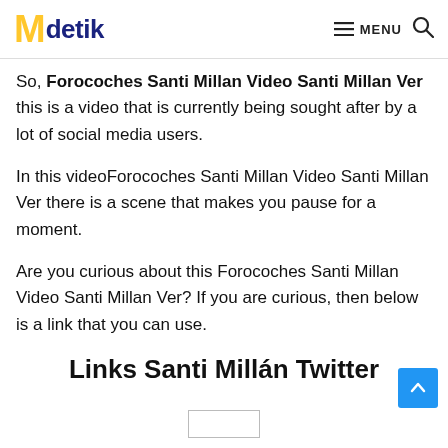Mdetik — MENU (search icon)
So, Forocoches Santi Millan Video Santi Millan Ver this is a video that is currently being sought after by a lot of social media users.
In this videoForocoches Santi Millan Video Santi Millan Ver there is a scene that makes you pause for a moment.
Are you curious about this Forocoches Santi Millan Video Santi Millan Ver? If you are curious, then below is a link that you can use.
Links Santi Millán Twitter